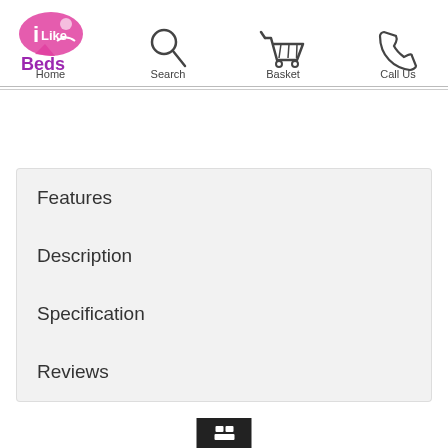iLike Beds — Home | Search | Basket | Call Us
Features
Description
Specification
Reviews
Items you have Recently Viewed (Clear All)